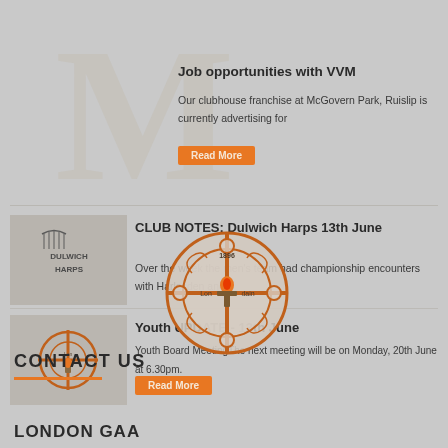[Figure (logo): Large watermark letter M in background]
Job opportunities with VVM
Our clubhouse franchise at McGovern Park, Ruislip is currently advertising for
Read More
[Figure (logo): Dulwich Harps GAA club logo]
CLUB NOTES: Dulwich Harps 13th June
Over the week the men's team had championship encounters with Harlesden and
[Figure (logo): London GAA crest overlaid centrally]
[Figure (logo): London GAA crest small thumbnail]
Youth UPDATE - 13th June
Youth Board MeetingThe next meeting will be on Monday, 20th June at 6.30pm.
Read More
CONTACT US
LONDON GAA